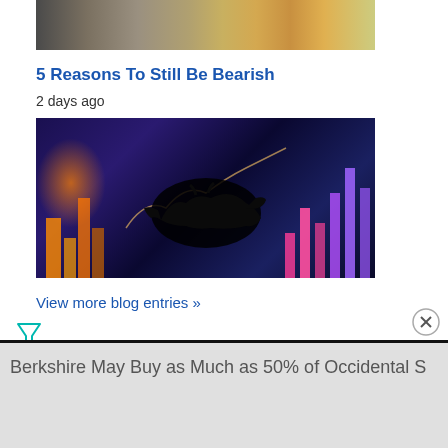[Figure (photo): Industrial/construction scene, top portion of image cropped]
5 Reasons To Still Be Bearish
2 days ago
[Figure (photo): Bear silhouette against colorful stock market chart display with orange, pink and purple bar charts on dark blue background]
View more blog entries »
Berkshire May Buy as Much as 50% of Occidental S